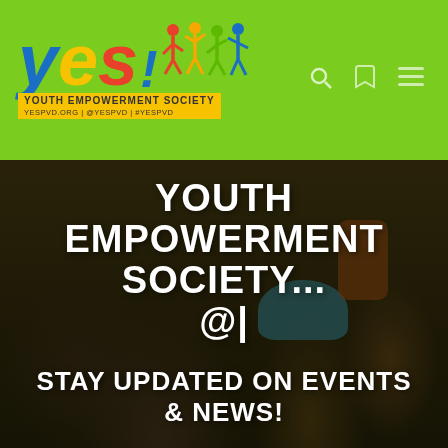[Figure (logo): YES! Youth Empowerment Society logo with colorful letters and dancing figures silhouettes on a lime green header bar]
[Figure (photo): Group of young people in a dimly lit room, partially darkened photo with white bold text overlay reading YOUTH EMPOWERMENT SOCIETY... @| and STAY UPDATED ON EVENTS & NEWS!]
YOUTH EMPOWERMENT SOCIETY... @|
STAY UPDATED ON EVENTS & NEWS!